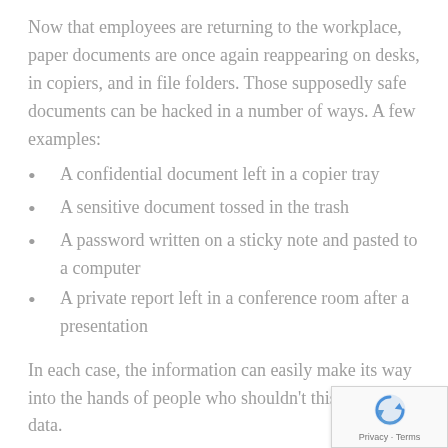Now that employees are returning to the workplace, paper documents are once again reappearing on desks, in copiers, and in file folders. Those supposedly safe documents can be hacked in a number of ways. A few examples:
A confidential document left in a copier tray
A sensitive document tossed in the trash
A password written on a sticky note and pasted to a computer
A private report left in a conference room after a presentation
In each case, the information can easily make its way into the hands of people who shouldn't this sensitive data.